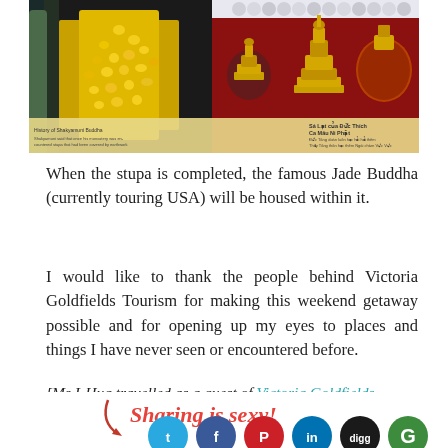[Figure (photo): Photo of golden Buddhist artifacts including a decorative gold tree/coin arrangement on the left and golden stupas/reliquaries on a red background on the right, with informational text labels visible at the bottom of the image.]
When the stupa is completed, the famous Jade Buddha (currently touring USA) will be housed within it.
I would like to thank the people behind Victoria Goldfields Tourism for making this weekend getaway possible and for opening up my eyes to places and things I have never seen or encountered before.
[Ms I-Hua travelled as a guest of Victoria Goldfields Tourism and Hatch Communications]
[Figure (infographic): Social sharing banner reading 'Sharing is sexy!' in red italic script with a curved arrow, followed by social media icon circles for Twitter, Facebook, Pinterest, LinkedIn, Digg, and Google+]